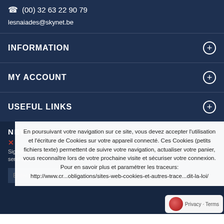(00) 32 63 22 90 79
lesnaiades@skynet.be
INFORMATION
MY ACCOUNT
USEFUL LINKS
NEWSLETTER
Signup to receive our latest news and promotions. We never send spam!
En poursuivant votre navigation sur ce site, vous devez accepter l'utilisation et l'écriture de Cookies sur votre appareil connecté. Ces Cookies (petits fichiers texte) permettent de suivre votre navigation, actualiser votre panier, vous reconnaître lors de votre prochaine visite et sécuriser votre connexion. Pour en savoir plus et paramétrer les traceurs: http://www.cr... obligations/sites-web-cookies-et-autres-trace... dit-la-loi/